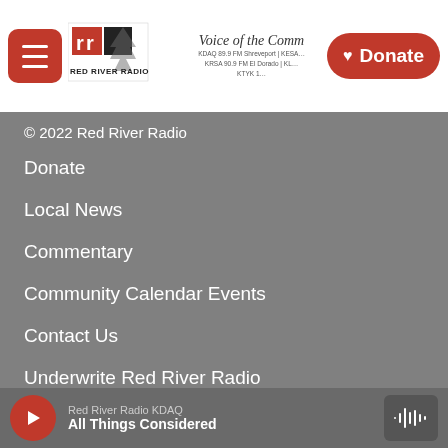Red River Radio — Voice of the Community header with logo, navigation hamburger, and Donate button
© 2022 Red River Radio
Donate
Local News
Commentary
Community Calendar Events
Contact Us
Underwrite Red River Radio
Our Team
Red River Radio KDAQ — All Things Considered